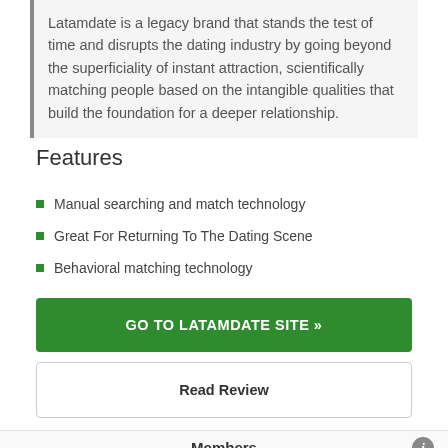Latamdate is a legacy brand that stands the test of time and disrupts the dating industry by going beyond the superficiality of instant attraction, scientifically matching people based on the intangible qualities that build the foundation for a deeper relationship.
Features
Manual searching and match technology
Great For Returning To The Dating Scene
Behavioral matching technology
GO TO LATAMDATE SITE »
Read Review
Members